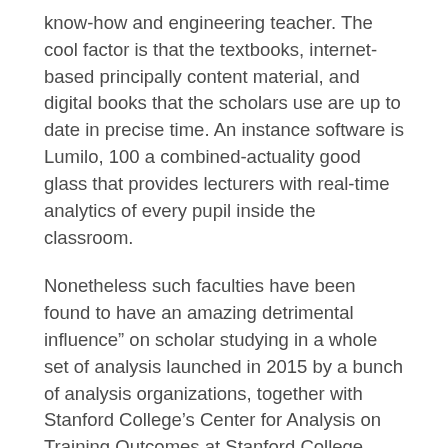know-how and engineering teacher. The cool factor is that the textbooks, internet-based principally content material, and digital books that the scholars use are up to date in precise time. An instance software is Lumilo, 100 a combined-actuality good glass that provides lecturers with real-time analytics of every pupil inside the classroom.
Nonetheless such faculties have been found to have an amazing detrimental influence" on scholar studying in a whole set of analysis launched in 2015 by a bunch of analysis organizations, together with Stanford College's Center for Analysis on Training Outcomes at Stanford College.
Some educating establishments additionally assure placements to the students. Different researchers have reported that college college students use solely a restricted range of applied sciences for studying and socialization. Instructional technologists attempt to